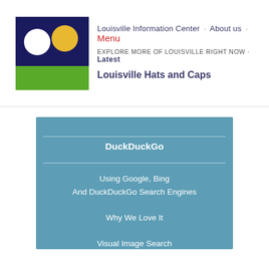[Figure (logo): Louisville Information Center logo: square with dark blue upper portion containing white circle and yellow circle, green lower portion]
Louisville Information Center · About us · Menu
EXPLORE MORE OF LOUISVILLE RIGHT NOW · Latest
Louisville Hats and Caps
DuckDuckGo
Using Google, Bing
And DuckDuckGo Search Engines
Why We Love It
Visual Image Search
★★★★★